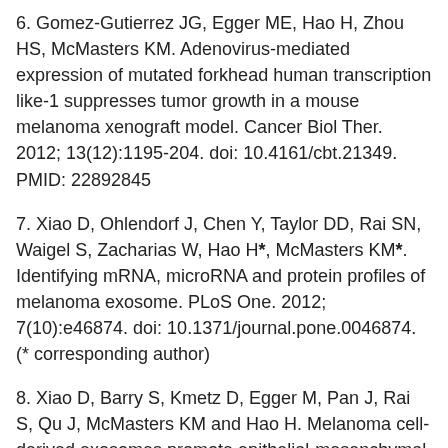6. Gomez-Gutierrez JG, Egger ME, Hao H, Zhou HS, McMasters KM. Adenovirus-mediated expression of mutated forkhead human transcription like-1 suppresses tumor growth in a mouse melanoma xenograft model. Cancer Biol Ther. 2012; 13(12):1195-204. doi: 10.4161/cbt.21349. PMID: 22892845
7. Xiao D, Ohlendorf J, Chen Y, Taylor DD, Rai SN, Waigel S, Zacharias W, Hao H*, McMasters KM*. Identifying mRNA, microRNA and protein profiles of melanoma exosome. PLoS One. 2012; 7(10):e46874. doi: 10.1371/journal.pone.0046874. (* corresponding author)
8. Xiao D, Barry S, Kmetz D, Egger M, Pan J, Rai S, Qu J, McMasters KM and Hao H. Melanoma cell-derived exosomes promote epithelial-mesenchymal transition in primary melanocytes through paracrine/autocrine signaling in the tumor environment. Cancer Letters. 2016; 376(2): 318-27. doi:10.1016/j.canlet.2016.03.050 PMC 27063098